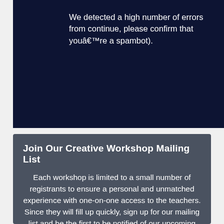We detected a high number of errors from continue, please confirm that youâ€™re a spambot).
Join Our Creative Workshop Mailing List
Each workshop is limited to a small number of registrants to ensure a personal and unmatched experience with one-on-one access to the teachers. Since they will fill up quickly, sign up for our mailing list and be the first to be notified of our upcoming Creative Workshops.